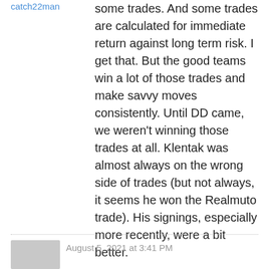catch22man
some trades. And some trades are calculated for immediate return against long term risk. I get that. But the good teams win a lot of those trades and make savvy moves consistently. Until DD came, we weren't winning those trades at all. Klentak was almost always on the wrong side of trades (but not always, it seems he won the Realmuto trade). His signings, especially more recently, were a bit better.
August 5, 2021 at 3:41 PM